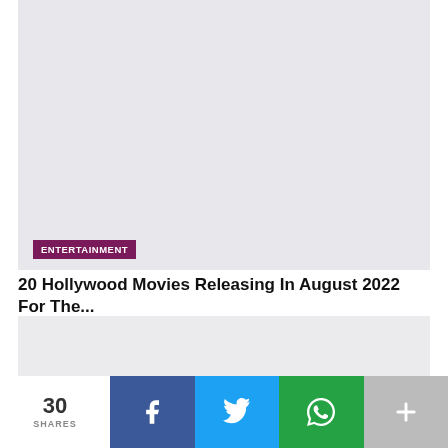[Figure (photo): Top image area placeholder - light gray background image for an article about Hollywood movies]
ENTERTAINMENT
20 Hollywood Movies Releasing In August 2022 For The...
[Figure (photo): Bottom image area placeholder - light gray background for another article]
30 SHARES
Facebook share button
Twitter share button
WhatsApp share button
More share button